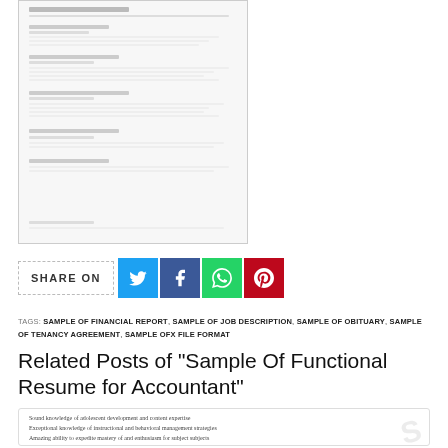[Figure (screenshot): Thumbnail image of a resume document page]
SHARE ON
TAGS: SAMPLE OF FINANCIAL REPORT, SAMPLE OF JOB DESCRIPTION, SAMPLE OF OBITUARY, SAMPLE OF TENANCY AGREEMENT, SAMPLE OFX FILE FORMAT
Related Posts of "Sample Of Functional Resume for Accountant"
[Figure (screenshot): Thumbnail of a resume listing skills: Sound knowledge of adolescent development and content expertise, Exceptional knowledge of instructional and behavioral management strategies, Amazing ability to expedite mastery of and enthusiasm for subject subjects, Outstanding ability to self reflect on instructional practices, Excellent oral and written communication and human relations skills, Strong organizational and classroom management skills]